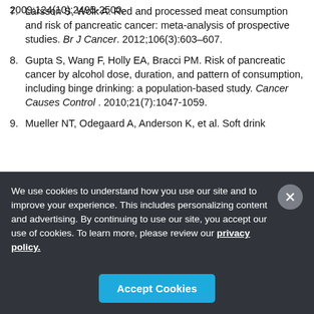2009;124(10):2495-2500.
7. Larsson S, Wolk A. Red and processed meat consumption and risk of pancreatic cancer: meta-analysis of prospective studies. Br J Cancer. 2012;106(3):603–607.
8. Gupta S, Wang F, Holly EA, Bracci PM. Risk of pancreatic cancer by alcohol dose, duration, and pattern of consumption, including binge drinking: a population-based study. Cancer Causes Control. 2010;21(7):1047-1059.
9. Mueller NT, Odegaard A, Anderson K, et al. Soft drink
We use cookies to understand how you use our site and to improve your experience. This includes personalizing content and advertising. By continuing to use our site, you accept our use of cookies. To learn more, please review our privacy policy.